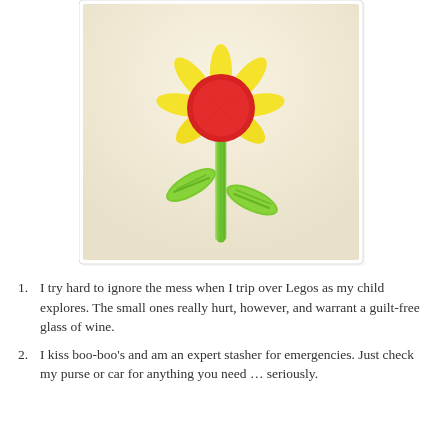[Figure (illustration): Child's crayon drawing of a flower with a red circular bloom, yellow petals radiating outward, a green stem, and two green leaves, on a cream/beige background inside a white polaroid-style frame with a light shadow.]
I try hard to ignore the mess when I trip over Legos as my child explores. The small ones really hurt, however, and warrant a guilt-free glass of wine.
I kiss boo-boo's and am an expert stasher for emergencies. Just check my purse or car for anything you need … seriously.